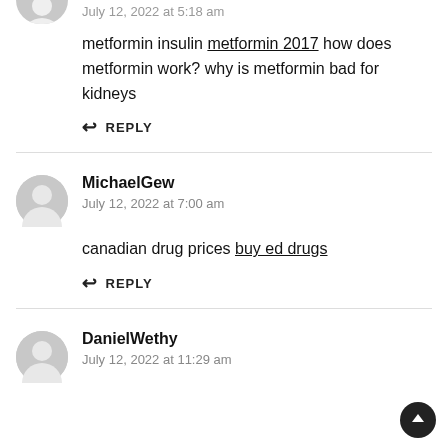July 12, 2022 at 5:18 am
metformin insulin metformin 2017 how does metformin work? why is metformin bad for kidneys
↩ REPLY
MichaelGew
July 12, 2022 at 7:00 am
canadian drug prices buy ed drugs
↩ REPLY
DanielWethy
July 12, 2022 at 11:29 am